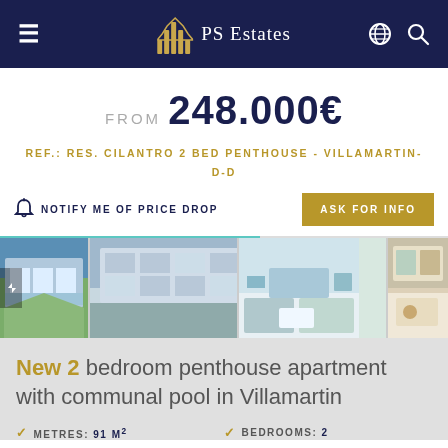PS Estates
FROM 248.000€
REF.: RES. CILANTRO 2 BED PENTHOUSE - VILLAMARTIN-D-D
NOTIFY ME OF PRICE DROP   ASK FOR INFO
[Figure (photo): Four thumbnail photos of the property: exterior left thumbnail, exterior main view, interior living room, interior bedroom]
New 2 bedroom penthouse apartment with communal pool in Villamartin
METRES: 91 m²   BEDROOMS: 2